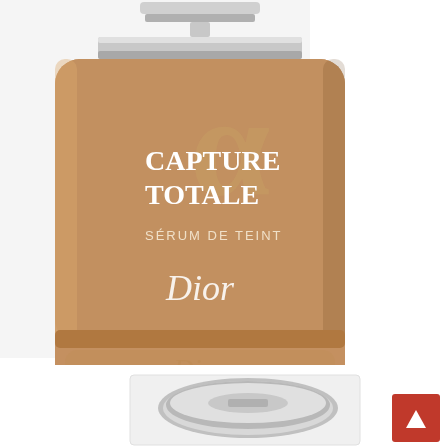[Figure (photo): Dior Capture Totale Serum de Teint foundation bottle in a warm tan/beige shade, with silver pump cap and frosted glass bottle body. The bottle displays 'CAPTURE TOTALE' text, an alpha symbol, 'SERUM DE TEINT' and 'Dior' branding. The reflection of the bottle is visible below it. White background on the right side.]
[Figure (photo): Partial view of a second Dior cosmetic product at the bottom of the page, showing a round silver compact or jar lid.]